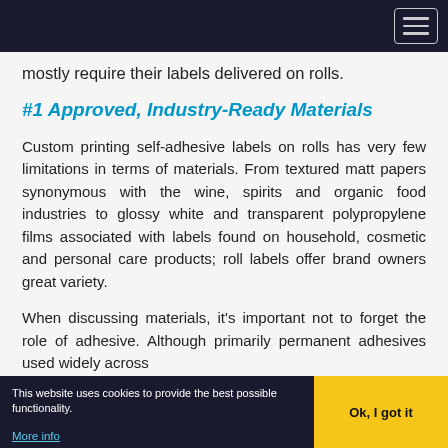(navigation bar with hamburger menu)
mostly require their labels delivered on rolls.
#1 Approved, Industry-Ready Materials
Custom printing self-adhesive labels on rolls has very few limitations in terms of materials. From textured matt papers synonymous with the wine, spirits and organic food industries to glossy white and transparent polypropylene films associated with labels found on household, cosmetic and personal care products; roll labels offer brand owners great variety.
When discussing materials, it's important not to forget the role of adhesive. Although primarily permanent adhesives used widely across
This website uses cookies to provide the best possible functionality. More info | Ok, I got it